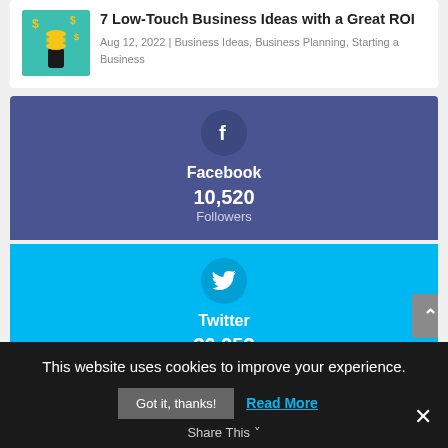7 Low-Touch Business Ideas with a Great ROI
Aug 12, 2022 | Business Ideas, Business Planning, Starting a Business
[Figure (infographic): Facebook social followers widget showing 10,520 Followers]
[Figure (infographic): Twitter social followers widget showing 20,952 Followers]
This website uses cookies to improve your experience.
Got it, thanks!
Read More
Share This